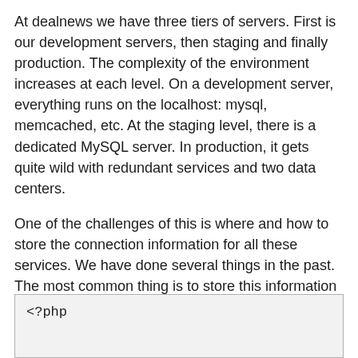At dealnews we have three tiers of servers. First is our development servers, then staging and finally production. The complexity of the environment increases at each level. On a development server, everything runs on the localhost: mysql, memcached, etc. At the staging level, there is a dedicated MySQL server. In production, it gets quite wild with redundant services and two data centers.
One of the challenges of this is where and how to store the connection information for all these services. We have done several things in the past. The most common thing is to store this information in a PHP file. It may be per server or there could be one big file like:
<?php